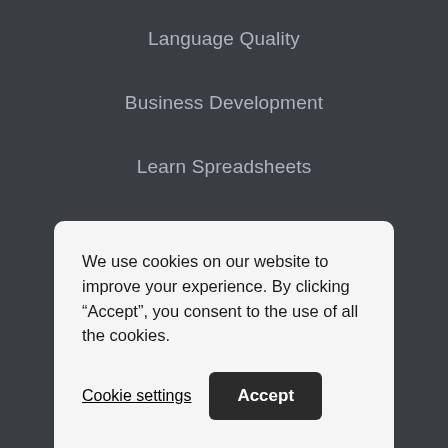Language Quality
Business Development
Learn Spreadsheets
Resources
Localization glossary
We use cookies on our website to improve your experience. By clicking “Accept”, you consent to the use of all the cookies.
Cookie settings
Accept